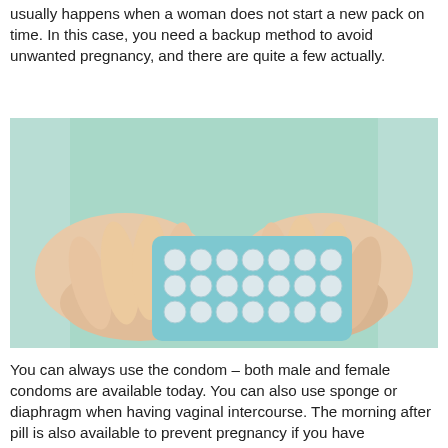usually happens when a woman does not start a new pack on time. In this case, you need a backup method to avoid unwanted pregnancy, and there are quite a few actually.
[Figure (photo): A person in a mint green top holding a blister pack of birth control pills with both hands, viewed from the front.]
You can always use the condom – both male and female condoms are available today. You can also use sponge or diaphragm when having vaginal intercourse. The morning after pill is also available to prevent pregnancy if you have unprotected vaginal sex – you need to take the pill within five days of having sex.